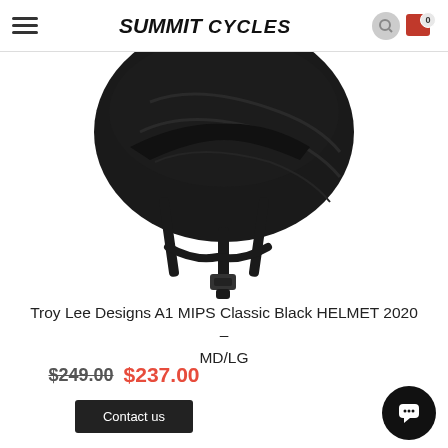Summit Cycles
[Figure (photo): Close-up photo of a Troy Lee Designs A1 MIPS Classic Black helmet showing chin straps and buckle against white background]
Troy Lee Designs A1 MIPS Classic Black HELMET 2020 – MD/LG
$249.00 $237.00
Contact us